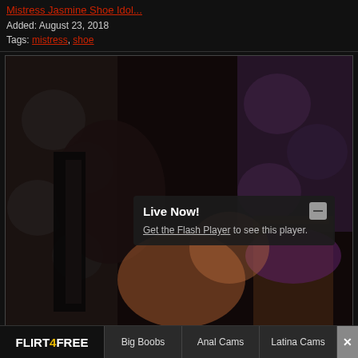Mistress Jasmine Shoe Idol...
Added: August 23, 2018
Tags: mistress, shoe
[Figure (screenshot): Dark adult webcam scene with a woman posing. An overlay popup reads 'Live Now!' with a message 'Get the Flash Player to see this player.']
FLIRT4FREE  Big Boobs  Anal Cams  Latina Cams